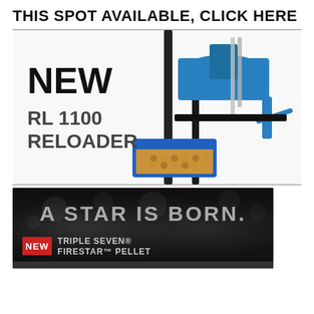This spot available, click here
[Figure (photo): Photo of a blue RL 1100 Reloader machine with text overlay 'NEW RL 1100 RELOADER' on the left side. The reloader is a complex mechanical device with blue hoppers, black frame, and brass casings in a bin at the bottom.]
[Figure (photo): Advertisement for Triple Seven Firestar Pellet on dark background. Text reads 'A STAR IS BORN.' with 'NEW' badge in red and 'TRIPLE SEVEN FIRESTAR PELLET' text. Background shows bokeh lights and what appears to be pellets at the bottom.]